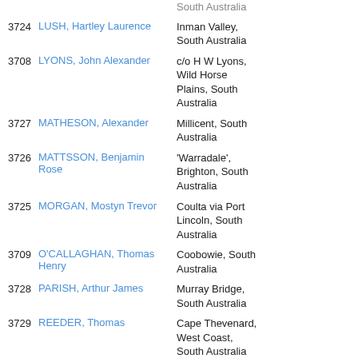[partial] South Australia
3724 LUSH, Hartley Laurence — Inman Valley, South Australia
3708 LYONS, John Alexander — c/o H W Lyons, Wild Horse Plains, South Australia
3727 MATHESON, Alexander — Millicent, South Australia
3726 MATTSSON, Benjamin Rose — 'Warradale', Brighton, South Australia
3725 MORGAN, Mostyn Trevor — Coulta via Port Lincoln, South Australia
3709 O'CALLAGHAN, Thomas Henry — Coobowie, South Australia
3728 PARISH, Arthur James — Murray Bridge, South Australia
3729 REEDER, Thomas — Cape Thevenard, West Coast, South Australia